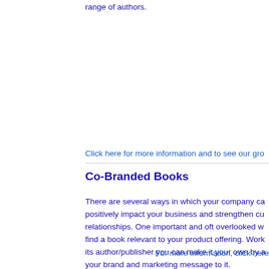range of authors.
Click here for more information and to see our gro
Co-Branded Books
There are several ways in which your company ca positively impact your business and strengthen cu relationships. One important and oft overlooked w find a book relevant to your product offering. Work its author/publisher you can make it your own by a your brand and marketing message to it.
For more information, click here